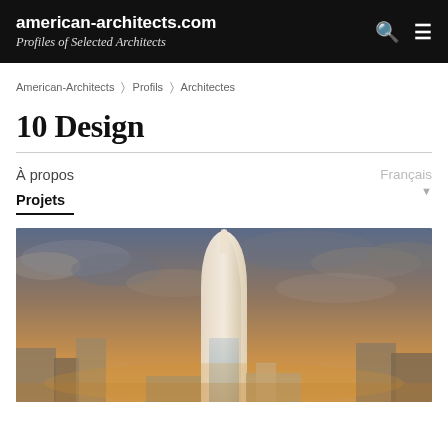american-architects.com — Profiles of Selected Architects
American-Architects > Profils > Architectes
10 Design
À propos
Projets
Français
[Figure (photo): Architectural rendering of a tall curved white tower building against a dramatic sunset sky with clouds, warm orange and grey tones.]